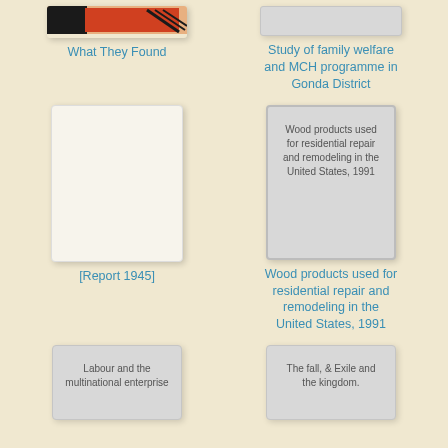[Figure (illustration): Book cover with red/orange graphic design for 'What They Found']
What They Found
[Figure (illustration): Gray book cover placeholder]
Study of family welfare and MCH programme in Gonda District
[Figure (illustration): Plain cream/white book cover placeholder for Report 1945]
[Figure (illustration): Gray book cover with text: Wood products used for residential repair and remodeling in the United States, 1991]
[Report 1945]
Wood products used for residential repair and remodeling in the United States, 1991
[Figure (illustration): Gray book cover with text: Labour and the multinational enterprise]
[Figure (illustration): Gray book cover with text: The fall, & Exile and the kingdom.]